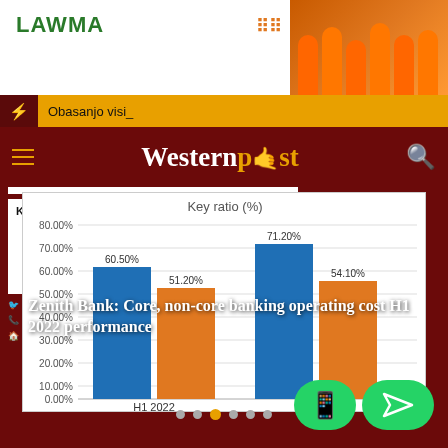[Figure (screenshot): LAWMA advertisement banner - Keeping Lagos Clean with contact details: lawma_gov, 0708 060 1060 toll free, www.lawma.gov.ng, and workers in orange uniforms photo]
Obasanjo visi_
[Figure (logo): Westernpost logo in white and gold on dark red background]
[Figure (grouped-bar-chart): Key ratio (%)]
Zenith Bank: Core, non-core banking operating cost H1 2022 performance